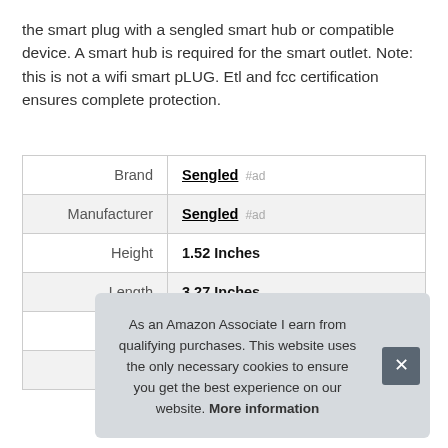the smart plug with a sengled smart hub or compatible device. A smart hub is required for the smart outlet. Note: this is not a wifi smart pLUG. Etl and fcc certification ensures complete protection.
|  |  |
| --- | --- |
| Brand | Sengled #ad |
| Manufacturer | Sengled #ad |
| Height | 1.52 Inches |
| Length | 3.27 Inches |
| Weight | 0.16 Pounds |
| P |  |
As an Amazon Associate I earn from qualifying purchases. This website uses the only necessary cookies to ensure you get the best experience on our website. More information